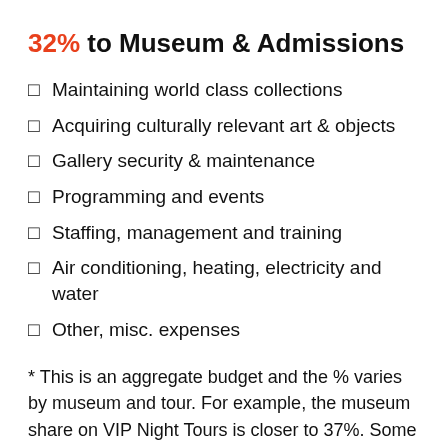32% to Museum & Admissions
Maintaining world class collections
Acquiring culturally relevant art & objects
Gallery security & maintenance
Programming and events
Staffing, management and training
Air conditioning, heating, electricity and water
Other, misc. expenses
* This is an aggregate budget and the % varies by museum and tour. For example, the museum share on VIP Night Tours is closer to 37%. Some museums offer admission free or by suggested